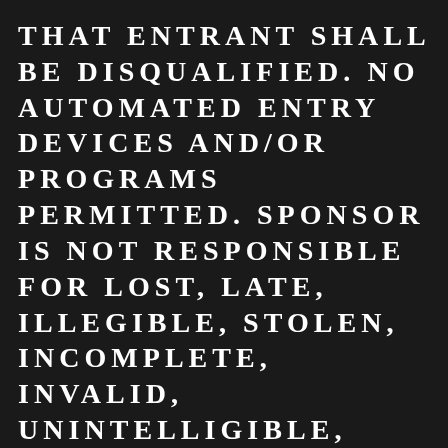THAT ENTRANT SHALL BE DISQUALIFIED. NO AUTOMATED ENTRY DEVICES AND/OR PROGRAMS PERMITTED. SPONSOR IS NOT RESPONSIBLE FOR LOST, LATE, ILLEGIBLE, STOLEN, INCOMPLETE, INVALID, UNINTELLIGIBLE, MISDIRECTED, TECHNICALLY CORRUPTED OR GARBLED ENTRIES